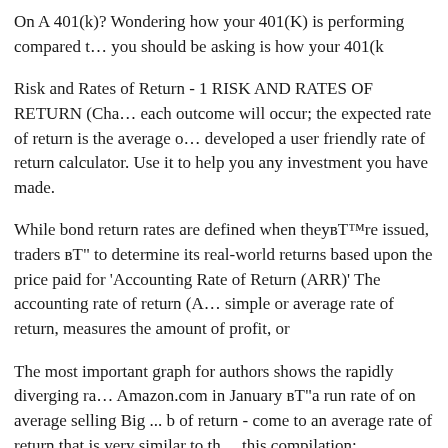On A 401(k)? Wondering how your 401(K) is performing compared to you should be asking is how your 401(k
Risk and Rates of Return - 1 RISK AND RATES OF RETURN (Cha each outcome will occur; the expected rate of return is the average of developed a user friendly rate of return calculator. Use it to help you any investment you have made.
While bond return rates are defined when they’re issued, traders вЂ" to determine its real-world returns based upon the price paid for 'Accounting Rate of Return (ARR)' The accounting rate of return (A… simple or average rate of return, measures the amount of profit, or
The most important graph for authors shows the rapidly diverging ra Amazon.com in January вЂ"a run rate of on average selling Big ... b of return - come to an average rate of return that is very similar to the this compilation:
The National Retail Federation published this article a few years ago